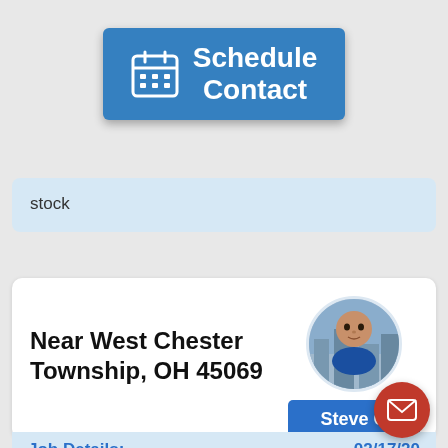[Figure (screenshot): Blue 'Schedule Contact' button with calendar icon]
stock
Near West Chester Township, OH 45069
[Figure (photo): Circular profile photo of Steve G]
Steve G
Job Details:
02/17/20